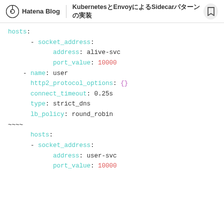Hatena Blog | KubernetesとEnvoyによるSidecarパターンの実装
[Figure (screenshot): Code block showing YAML configuration for Envoy with socket_address, address: alive-svc, port_value: 10000, name: user, http2_protocol_options: {}, connect_timeout: 0.25s, type: strict_dns, lb_policy: round_robin, followed by hosts section with socket_address, address: user-svc, port_value: 10000]